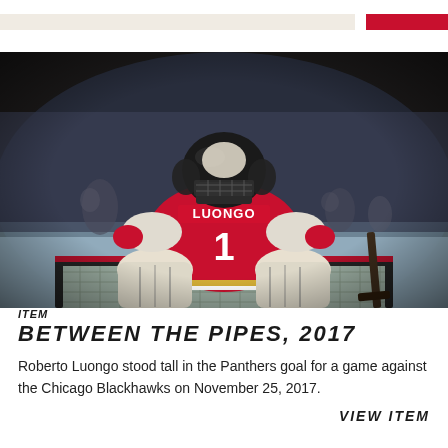[Figure (photo): Roberto Luongo wearing Florida Panthers red jersey number 1 with name LUONGO on back, seen from behind, standing in goal during a hockey game against the Chicago Blackhawks.]
ITEM
BETWEEN THE PIPES, 2017
Roberto Luongo stood tall in the Panthers goal for a game against the Chicago Blackhawks on November 25, 2017.
VIEW ITEM